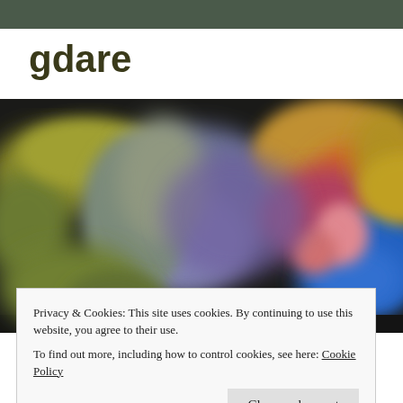gdare
[Figure (photo): Blurred close-up of colorful autumn foliage and berries with blue, yellow, orange, green hues against a dark background.]
Privacy & Cookies: This site uses cookies. By continuing to use this website, you agree to their use.
To find out more, including how to control cookies, see here: Cookie Policy
Close and accept
Brandywine Meadows